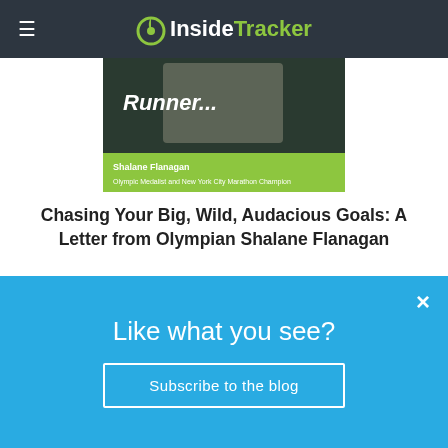InsideTracker
[Figure (photo): Banner image with text 'Runner...' and Shalane Flanagan, Olympic Medalist and New York City Marathon Champion]
Chasing Your Big, Wild, Audacious Goals: A Letter from Olympian Shalane Flanagan
By Shalane Flanagan, April 9, 2021
[Figure (photo): Photo of a person lying down, appearing to be resting or stretching]
Like what you see?
Subscribe to the blog